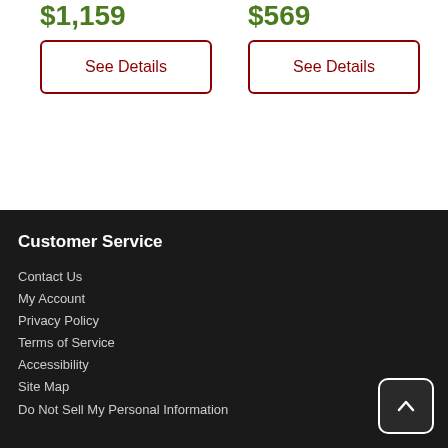$1,159
$569
See Details
See Details
Customer Service
Contact Us
My Account
Privacy Policy
Terms of Service
Accessibility
Site Map
Do Not Sell My Personal Information